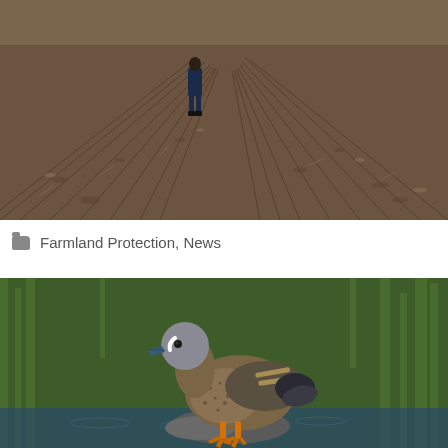[Figure (photo): A person standing in a plowed agricultural field with rows of tilled dark soil extending into the distance]
Farmland Protection, News
[Figure (photo): A blue-winged teal duck standing on a rock at the water's edge, with green reeds/vegetation in the background]